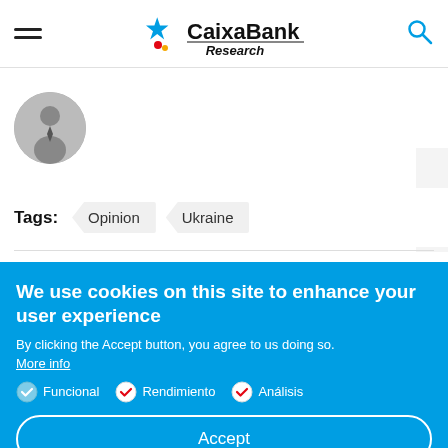CaixaBank Research
[Figure (photo): Circular profile photo of a person in a suit and tie, black and white]
Tags: Opinion Ukraine
We use cookies on this site to enhance your user experience
By clicking the Accept button, you agree to us doing so.
More info
Funcional   Rendimiento   Análisis
Accept